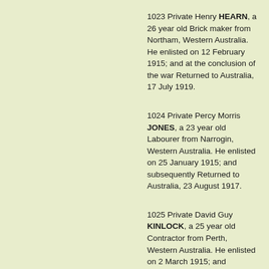1023 Private Henry HEARN, a 26 year old Brick maker from Northam, Western Australia. He enlisted on 12 February 1915; and at the conclusion of the war Returned to Australia, 17 July 1919.
1024 Private Percy Morris JONES, a 23 year old Labourer from Narrogin, Western Australia. He enlisted on 25 January 1915; and subsequently Returned to Australia, 23 August 1917.
1025 Private David Guy KINLOCK, a 25 year old Contractor from Perth, Western Australia. He enlisted on 2 March 1915; and subsequently Returned to Australia, 21 January 1916.